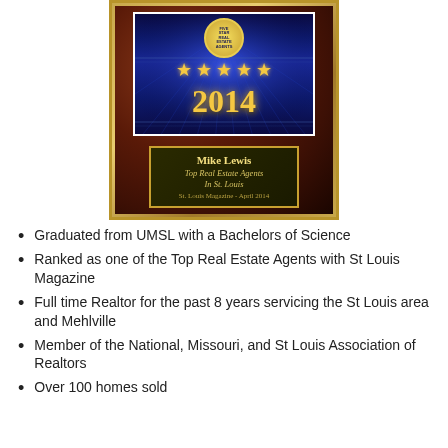[Figure (photo): A Five Star Real Estate Agents award plaque from 2014. The plaque has a dark wood background with a gold border. The upper portion features a blue section with a gold badge at top reading 'Five Star Real Estate Agents', five gold stars, and the year '2014' in gold text. Below is a black nameplate with gold border reading 'Mike Lewis, Top Real Estate Agents In St. Louis, St. Louis Magazine - April 2014'.]
Graduated from UMSL with a Bachelors of Science
Ranked as one of the Top Real Estate Agents with St Louis Magazine
Full time Realtor for the past 8 years servicing the St Louis area and Mehlville
Member of the National, Missouri, and St Louis Association of Realtors
Over 100 homes sold